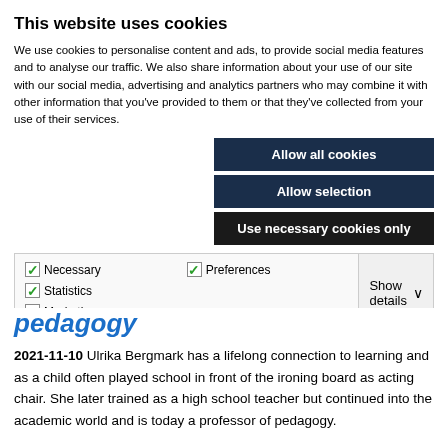This website uses cookies
We use cookies to personalise content and ads, to provide social media features and to analyse our traffic. We also share information about your use of our site with our social media, advertising and analytics partners who may combine it with other information that you've provided to them or that they've collected from your use of their services.
Allow all cookies
Allow selection
Use necessary cookies only
| ✓ Necessary | ✓ Preferences | ✓ Statistics | Show details ∨ |
| Marketing |  |  |  |
pedagogy
2021-11-10 Ulrika Bergmark has a lifelong connection to learning and as a child often played school in front of the ironing board as acting chair. She later trained as a high school teacher but continued into the academic world and is today a professor of pedagogy.